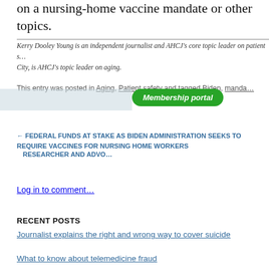on a nursing-home vaccine mandate or other topics.
Kerry Dooley Young is an independent journalist and AHCJ's core topic leader on patient s… City, is AHCJ's topic leader on aging.
This entry was posted in Aging, Patient safety and tagged Biden, manda…
Membership portal
← FEDERAL FUNDS AT STAKE AS BIDEN ADMINISTRATION SEEKS TO REQUIRE VACCINES FOR NURSING HOME WORKERS
RESEARCHER AND ADVO…
Log in to comment…
RECENT POSTS
Journalist explains the right and wrong way to cover suicide
What to know about telemedicine fraud
CMS expands popular home and community…